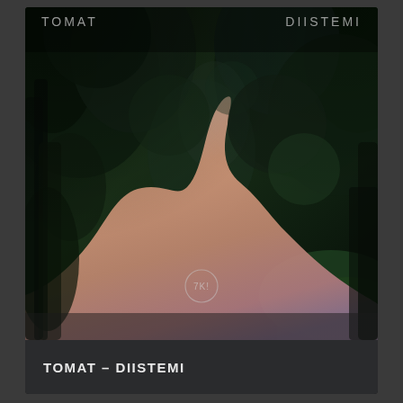[Figure (illustration): Album cover artwork for TOMAT – DIISTEMI. Dark aerial forest photograph overlaid with a salmon/peach colored abstract organic shape flowing from the lower portion upward to a narrow point. Text overlays 'TOMAT' on top left and 'DIISTEMI' on top right in light gray letters. A small circular logo/icon is visible in the lower center of the cover image.]
TOMAT – DIISTEMI